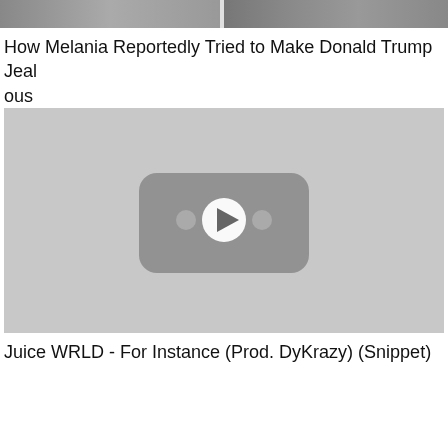[Figure (photo): Top portion of a photo showing people, cropped at the top of the page, split into two images side by side]
How Melania Reportedly Tried to Make Donald Trump Jealous
[Figure (screenshot): Video thumbnail placeholder with gray background showing a YouTube-style play button icon in the center]
Juice WRLD - For Instance (Prod. DyKrazy) (Snippet)